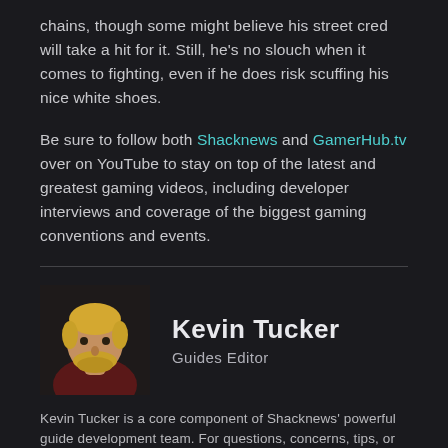chains, though some might believe his street cred will take a hit for it. Still, he's no slouch when it comes to fighting, even if he does risk scuffing his nice white shoes.
Be sure to follow both Shacknews and GamerHub.tv over on YouTube to stay on top of the latest and greatest gaming videos, including developer interviews and coverage of the biggest gaming conventions and events.
[Figure (photo): Headshot photo of Kevin Tucker, a blond man with a beard wearing a dark red shirt]
Kevin Tucker
Guides Editor
Kevin Tucker is a core component of Shacknews' powerful guide development team. For questions, concerns, tips, or to share